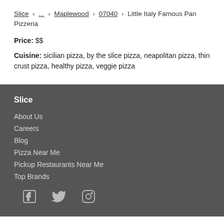Slice > ... > Maplewood > 07040 > Little Italy Famous Pan Pizzeria
Price: $$
Cuisine: sicilian pizza, by the slice pizza, neapolitan pizza, thin crust pizza, healthy pizza, veggie pizza
Slice
About Us
Careers
Blog
Pizza Near Me
Pickup Restaurants Near Me
Top Brands
[Figure (illustration): Social media icons: Facebook, Twitter, Instagram]